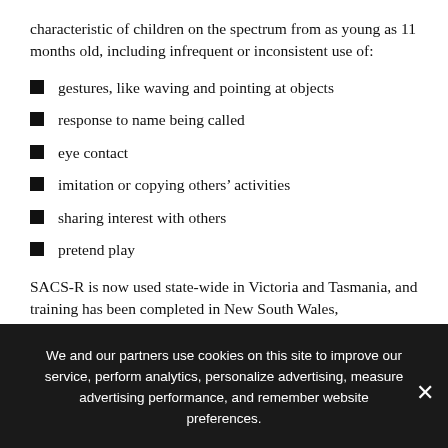characteristic of children on the spectrum from as young as 11 months old, including infrequent or inconsistent use of:
gestures, like waving and pointing at objects
response to name being called
eye contact
imitation or copying others’ activities
sharing interest with others
pretend play
SACS-R is now used state-wide in Victoria and Tasmania, and training has been completed in New South Wales, Queensland, and South Australia.
We and our partners use cookies on this site to improve our service, perform analytics, personalize advertising, measure advertising performance, and remember website preferences.